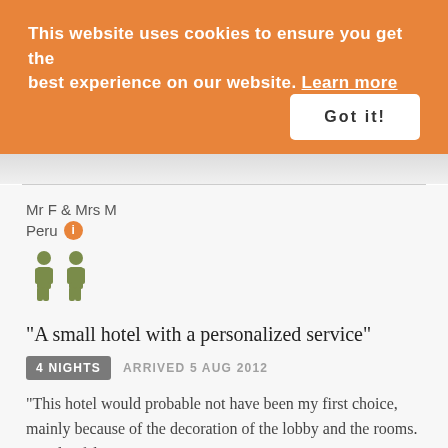This website uses cookies to ensure you get the best experience on our website. Learn more
Got it!
Mr F & Mrs M
Peru
[Figure (illustration): Two person/people icons in olive green color representing two travelers]
"A small hotel with a personalized service"
4 NIGHTS  ARRIVED 5 AUG 2012
"This hotel would probable not have been my first choice, mainly because of the decoration of the lobby and the rooms. We also felt it was too quiet